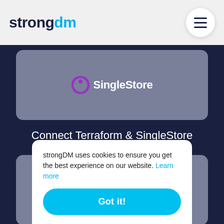[Figure (logo): strongDM logo in top navigation bar]
[Figure (screenshot): Navigation hamburger menu button (three horizontal lines in a white circle)]
[Figure (logo): SingleStore logo with purple ring icon and text]
Connect Terraform & SingleStore
[Figure (logo): Snowflake logo - cyan/blue snowflake icon]
strongDM uses cookies to ensure you get the best experience on our website. Learn more
Got it!